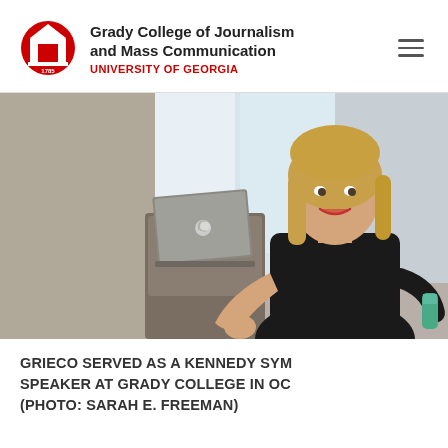Grady College of Journalism and Mass Communication
UNIVERSITY OF GEORGIA
[Figure (photo): A woman with blonde hair wearing a black outfit stands speaking at a lectern. She holds a water bottle in one hand and gestures with the other. An Apple MacBook laptop is visible on the lectern. The background shows a bright room with windows.]
GRIECO SERVED AS A KENNEDY SYM[POSIUM] SPEAKER AT GRADY COLLEGE IN OC[TOBER] (PHOTO: SARAH E. FREEMAN)